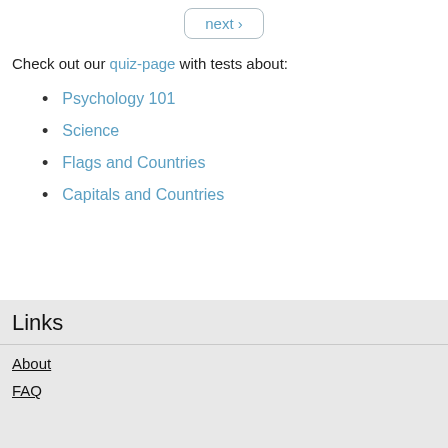next ›
Check out our quiz-page with tests about:
Psychology 101
Science
Flags and Countries
Capitals and Countries
Links
About
FAQ